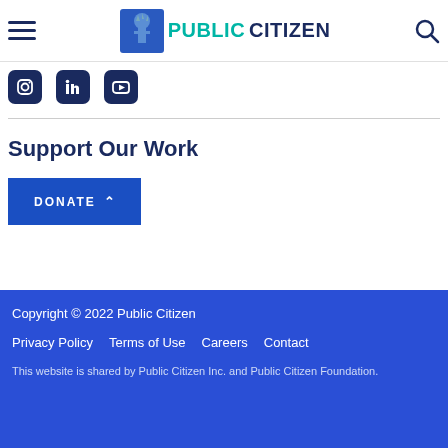Public Citizen – site header with navigation hamburger menu, logo, and search icon
[Figure (logo): Public Citizen logo with Statue of Liberty icon and teal/navy text]
[Figure (infographic): Social media icons: Instagram, LinkedIn, YouTube (dark navy rounded square icons)]
Support Our Work
DONATE
Copyright © 2022 Public Citizen
Privacy Policy   Terms of Use   Careers   Contact
This website is shared by Public Citizen Inc. and Public Citizen Foundation.